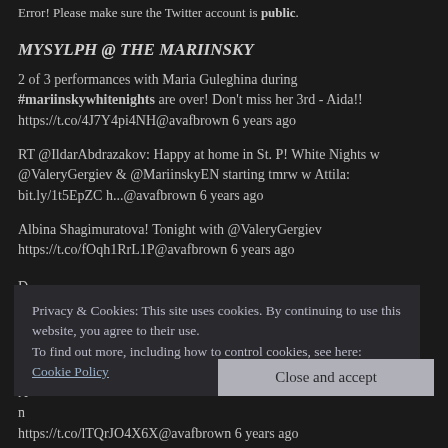Error! Please make sure the Twitter account is public.
MYSYLPH @ THE MARIINSKY
2 of 3 performances with Maria Guleghina during #mariinskywhitenights are over! Don't miss her 3rd - Aida!! https://t.co/4J7Y4pi4NH@avafbrown 6 years ago
RT @IldarAbdrazakov: Happy at home in St. P! White Nights w @ValeryGergiev & @MariinskyEN starting tmrw w Attila: bit.ly/1t5EpZC h...@avafbrown 6 years ago
Albina Shagimuratova! Tonight with @ValeryGergiev https://t.co/fOqh1RrL1P@avafbrown 6 years ago
Privacy & Cookies: This site uses cookies. By continuing to use this website, you agree to their use.
To find out more, including how to control cookies, see here: Cookie Policy
Close and accept
https://t.co/lTQrJO4X6X@avafbrown 6 years ago